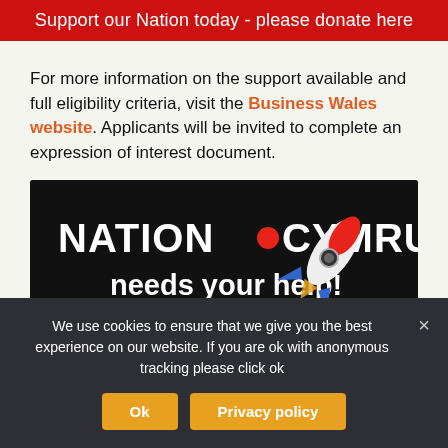Support our Nation today - please donate here
For more information on the support available and full eligibility criteria, visit the Business Wales website. Applicants will be invited to complete an expression of interest document.
[Figure (illustration): Dark banner with NATION•CYMRU needs your help! text and a rocket graphic on the right side.]
Share this:
Facebook  Twitter  Email
We use cookies to ensure that we give you the best experience on our website. If you are ok with anonymous tracking please click ok
Ok  Privacy policy